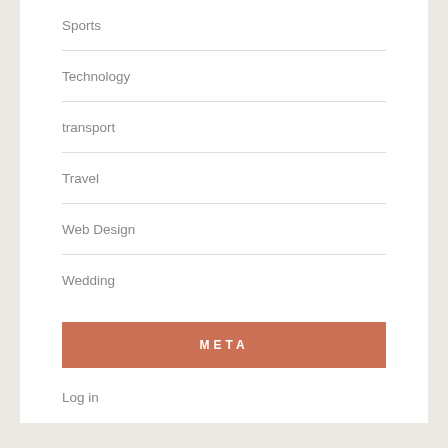Sports
Technology
transport
Travel
Web Design
Wedding
Weight loss
META
Log in